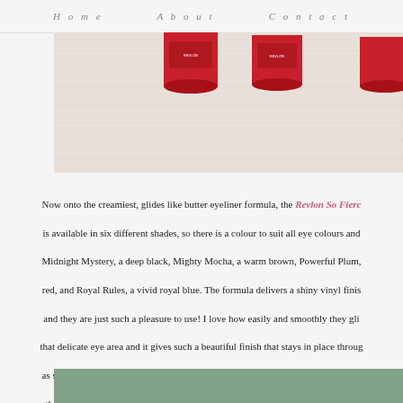Home   About   Contact
[Figure (photo): Red cosmetic containers (eyeliner) on a white textured fabric/towel background]
Now onto the creamiest, glides like butter eyeliner formula, the Revlon So Fierc is available in six different shades, so there is a colour to suit all eye colours and Midnight Mystery, a deep black, Mighty Mocha, a warm brown, Powerful Plum, red, and Royal Rules, a vivid royal blue. The formula delivers a shiny vinyl finis and they are just such a pleasure to use! I love how easily and smoothly they gli that delicate eye area and it gives such a beautiful finish that stays in place throug as someone with often sensitive, watery eyes, this even stays on my waterline, w they have released so many different shades - as someone who is fair haired an intense for me on a daily basis, but the grey, the brown and eve
[Figure (photo): Partial view of cosmetic product on textured green/teal surface]